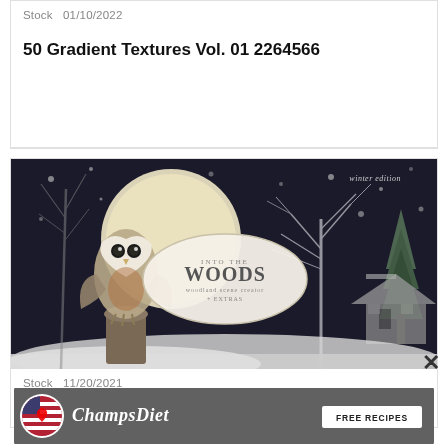Stock   01/10/2022
50 Gradient Textures Vol. 01 2264566
[Figure (illustration): Winter edition woodland scene creator illustration showing a barn owl perched on a tree stump against a full moon, with snowy winter forest background, trees, and a cabin. Central oval badge reads 'INTO THE WOODS woodland scene creator + EXTRAS'. Top right reads 'winter edition'.]
Stock   11/20/2021
[Figure (photo): ChampsDiet advertisement banner with circular US flag logo, cursive ChampsDiet text in white, and a 'FREE RECIPES' button on the right, with food ingredients visible in background]